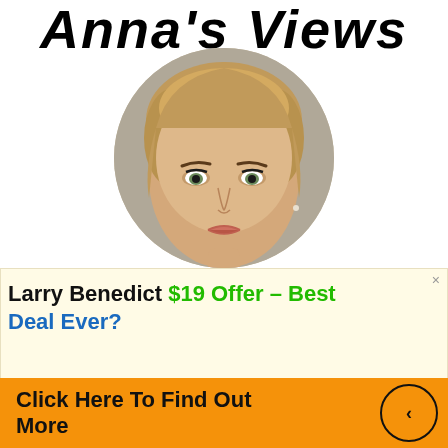Anna's Views
[Figure (photo): Circular portrait photo of a young blonde woman looking at camera]
Larry Benedict $19 Offer – Best Deal Ever?
Click Here To Find Out More